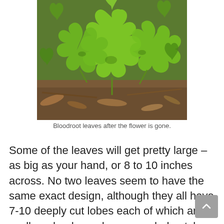[Figure (photo): Photograph of bloodroot leaves after the flower is gone, showing large bright green deeply lobed leaves on a forest floor with dead leaves and debris visible.]
Bloodroot leaves after the flower is gone.
Some of the leaves will get pretty large – as big as your hand, or 8 to 10 inches across. No two leaves seem to have the same exact design, although they all have 7-10 deeply cut lobes each of which are scalloped or have deep, rounded notches.